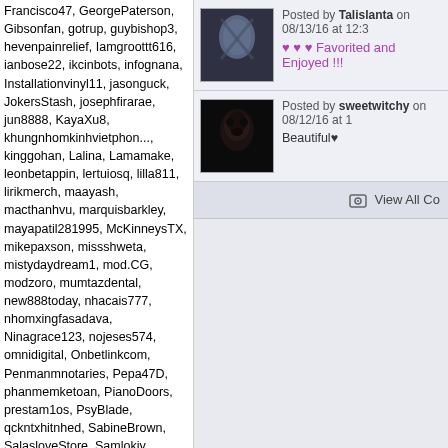Francisco47, GeorgePaterson, Gibsonfan, gotrup, guybishop3, hevenpainrelief, Iamgroottt616, ianbose22, ikcinbots, infognana, Installationvinyl11, jasonguck, JokersStash, josephfirarae, jun8888, KayaXu8, khungnhomkinhvietphon..., kinggohan, Lalina, Lamamake, leonbetappin, lertuiosq, lilla811, lirikmerch, maayash, macthanhvu, marquisbarkley, mayapatil281995, McKinneysTX, mikepaxson, missshweta, mistydaydream1, mod.CG, modzoro, mumtazdental, new888today, nhacais777, nhomxingfasadava, Ninagrace123, nojeses574, omnidigital, Onbetlinkcom, Penmanmnotaries, Pepa47D, phanmemketoan, PianoDoors, prestam1os, PsyBlade, qckntxhitnhed, SabineBrown, SalasloveStore, Samlokiy, sarmsvssteroids, Shakhawat101, Sharktankketogummiesu..., Shonu12aug, socialbacklink1, sonygatla, steverogers9005, susiestravelweb, SwastikPackersinMumba..., taigamekingfunus, texasnurselawyers, theglobalcitysvn24, theparkavenuecity, ThorsenBryan99, tiptopumzug, top10vietnamta, topd026, trainwellnesshike, Tropics777
Posted by Talislanta on 08/13/16 at 12:3
♥ ♥ ♥ Favorited and Enjoyed !!!
Posted by sweetwitchy on 08/12/16 at 1
Beautiful♥
View All Co...